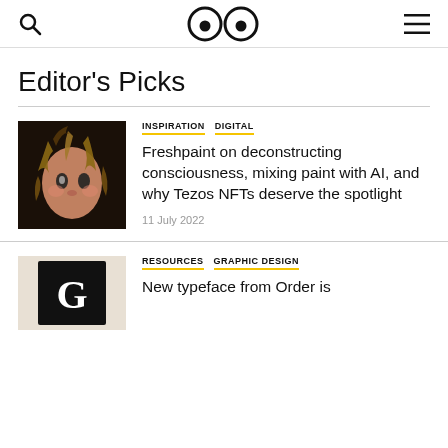Search | It's Nice That logo | Menu
Editor's Picks
[Figure (photo): Close-up artwork portrait with surreal organic extensions emerging from a face, dark background]
INSPIRATION  DIGITAL
Freshpaint on deconstructing consciousness, mixing paint with AI, and why Tezos NFTs deserve the spotlight
11 July 2022
[Figure (photo): Person holding a black tote bag with a white letter G graphic design]
RESOURCES  GRAPHIC DESIGN
New typeface from Order is